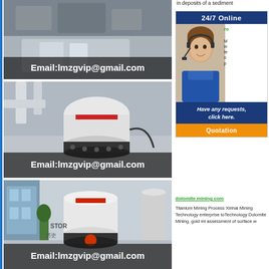[Figure (photo): Industrial mining/milling machine equipment photo with email overlay text 'Email:lmzgvip@gmail.com']
[Figure (photo): Industrial cone crusher machine equipment photo with email overlay text 'Email:lmzgvip@gmail.com']
[Figure (photo): Industrial cone crusher machine in showroom/factory with Chinese characters and 'STOR', email overlay text 'Email:lmzgvip@gmail.com']
in deposits of a sediment
[Figure (photo): 24/7 Online customer service widget with woman wearing headset, 'Have any requests, click here.' and 'Quotation' button]
dolomite mining com
Titanium Mining Process Xinhai Mining Technology enterprise toTechnology Dolomite Mining. gold mi assessment of surface w